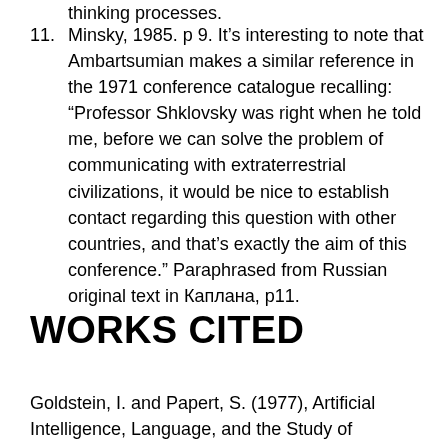thinking processes.
11. Minsky, 1985. p 9. It’s interesting to note that Ambartsumian makes a similar reference in the 1971 conference catalogue recalling: “Professor Shklovsky was right when he told me, before we can solve the problem of communicating with extraterrestrial civilizations, it would be nice to establish contact regarding this question with other countries, and that’s exactly the aim of this conference.” Paraphrased from Russian original text in Каплана, p11.
WORKS CITED
Goldstein, I. and Papert, S. (1977), Artificial Intelligence, Language, and the Study of Knowledge. Cognitive Science, 1, 84–127.